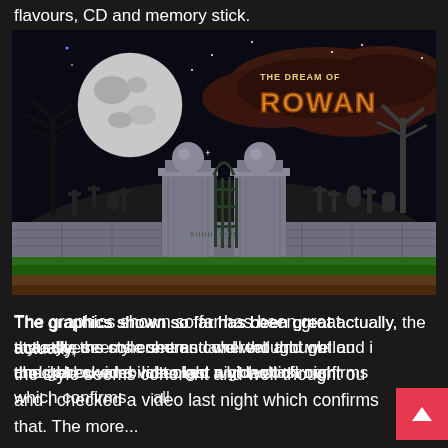flavours, CD and memory stick.
[Figure (screenshot): A pixel-art style video game screenshot from 'The Dream of Rowan' showing a spooky graveyard scene at night with a moon, dark clouds, cemetery gate flanked by stone pillars, silhouetted trees, and green grass at the bottom. The game title 'THE DREAM OF ROWAN' appears in the upper right corner in stylized text.]
The graphics shown so far has been great actually, the style seems coherent and well thought out and i checked a video last night which confirms all that. The more fully text below that text continues li...